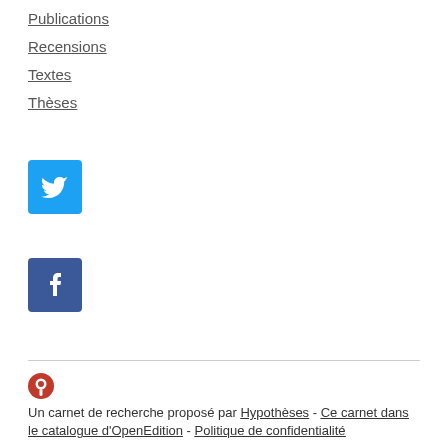Publications
Recensions
Textes
Thèses
[Figure (logo): Twitter social media icon — white bird on blue square background]
[Figure (logo): Facebook social media icon — white 'f' on dark blue square background]
Un carnet de recherche proposé par Hypothèses - Ce carnet dans le catalogue d'OpenEdition - Politique de confidentialité - Flux de syndication - Crédits - ISSN 2554-0122 Fièrement propulsé par WordPress